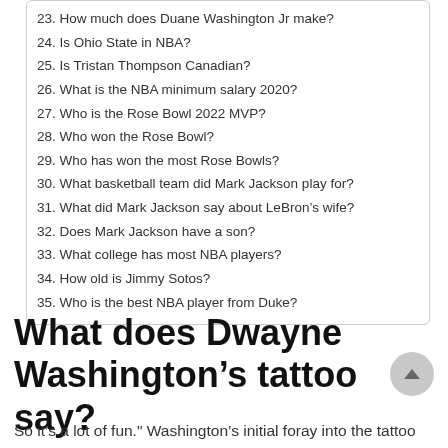23. How much does Duane Washington Jr make?
24. Is Ohio State in NBA?
25. Is Tristan Thompson Canadian?
26. What is the NBA minimum salary 2020?
27. Who is the Rose Bowl 2022 MVP?
28. Who won the Rose Bowl?
29. Who has won the most Rose Bowls?
30. What basketball team did Mark Jackson play for?
31. What did Mark Jackson say about LeBron’s wife?
32. Does Mark Jackson have a son?
33. What college has most NBA players?
34. How old is Jimmy Sotos?
35. Who is the best NBA player from Duke?
What does Dwayne Washington’s tattoo say?
So it’s a lot of fun." Washington’s initial foray into the tattoo